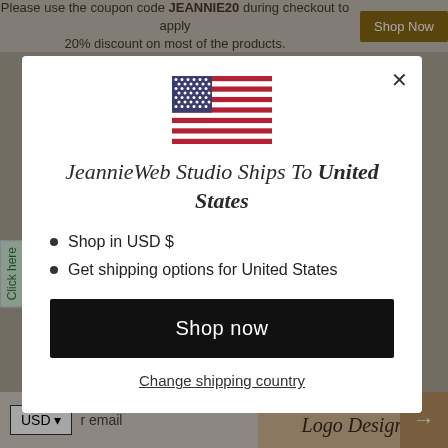Please use the coupon code JEANNIE20 during checkout to apply 20% discount on most of the products.
[Figure (screenshot): US flag SVG illustration shown in modal dialog]
JeannieWeb Studio Ships To United States
Shop in USD $
Get shipping options for United States
Shop now
Change shipping country